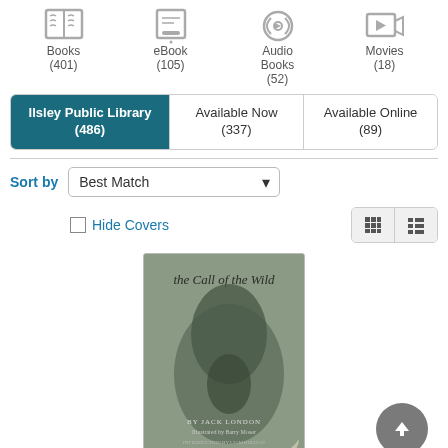[Figure (screenshot): Library catalog interface showing media type icons: Books (401), eBook (105), Audio Books (52), Movies (18)]
Books (401)
eBook (105)
Audio Books (52)
Movies (18)
Ilsley Public Library (486)
Available Now (337)
Available Online (89)
Sort by  Best Match
Hide Covers
[Figure (photo): Book cover of The Call of the Wild by Jack London, illustrated by Barry Moser, showing a wolf howling, gray-green tones]
[Figure (other): Star rating: approximately 3.5 out of 5 stars shown in yellow]